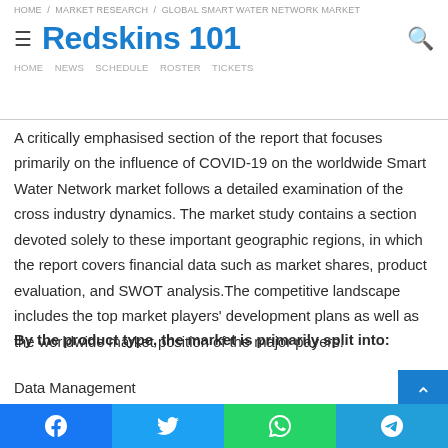Redskins 101
A critically emphasised section of the report that focuses primarily on the influence of COVID-19 on the worldwide Smart Water Network market follows a detailed examination of the cross industry dynamics. The market study contains a section devoted solely to these important geographic regions, in which the report covers financial data such as market shares, product evaluation, and SWOT analysis.The competitive landscape includes the top market players' development plans as well as the worldwide market position of the major payers.
By the product type, the market is primarily split into:
Data Management
Smart Meter
Facebook | Twitter | WhatsApp | Telegram